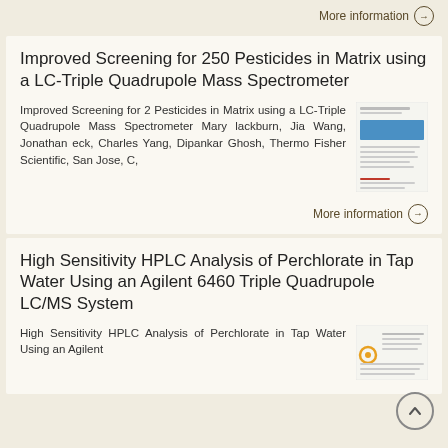More information →
Improved Screening for 250 Pesticides in Matrix using a LC-Triple Quadrupole Mass Spectrometer
Improved Screening for 2 Pesticides in Matrix using a LC-Triple Quadrupole Mass Spectrometer Mary lackburn, Jia Wang, Jonathan eck, Charles Yang, Dipankar Ghosh, Thermo Fisher Scientific, San Jose, C,
[Figure (other): Thumbnail image of a document page with a blue bar graphic]
More information →
High Sensitivity HPLC Analysis of Perchlorate in Tap Water Using an Agilent 6460 Triple Quadrupole LC/MS System
High Sensitivity HPLC Analysis of Perchlorate in Tap Water Using an Agilent
[Figure (other): Thumbnail image of a document page with text and a gear icon]